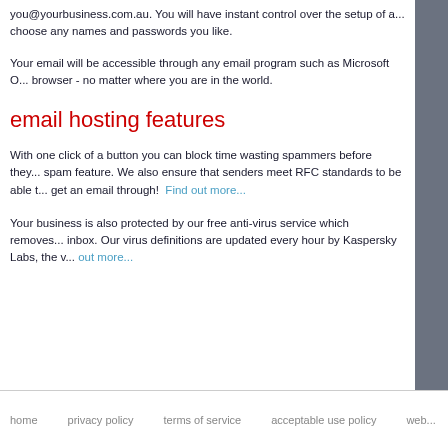you@yourbusiness.com.au. You will have instant control over the setup of a... choose any names and passwords you like.
Your email will be accessible through any email program such as Microsoft O... browser - no matter where you are in the world.
email hosting features
With one click of a button you can block time wasting spammers before they... spam feature. We also ensure that senders meet RFC standards to be able t... get an email through!  Find out more...
Your business is also protected by our free anti-virus service which removes... inbox. Our virus definitions are updated every hour by Kaspersky Labs, the v... out more...
home   privacy policy   terms of service   acceptable use policy   web...